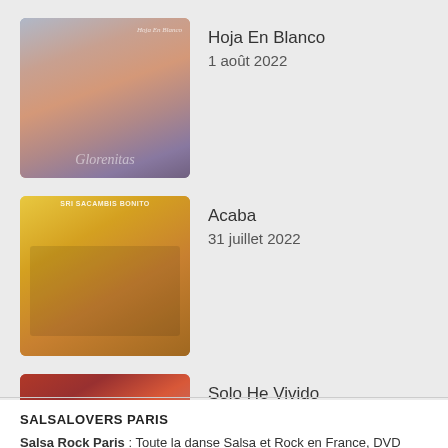[Figure (illustration): Album cover for Hoja En Blanco, showing a woman and man in a romantic pose with cursive text overlay]
Hoja En Blanco
1 août 2022
[Figure (illustration): Album cover for Acaba, showing musicians on a yellow/golden background]
Acaba
31 juillet 2022
[Figure (illustration): Album cover for Solo He Vivido, showing a man with sunglasses and text Mi La Mancha Musical]
Solo He Vivido
27 juillet 2022
SALSALOVERS PARIS
Salsa Rock Paris : Toute la danse Salsa et Rock en France, DVD Salsa et rock 6 temps, DVD Valse, Vidéos Tango, Paso Doble, DVD salsa cubaine,